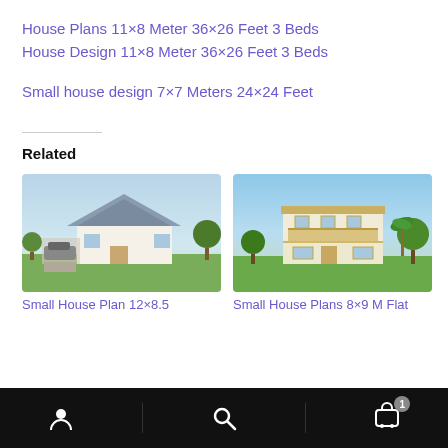House Plans 11×8 Meter 36×26 Feet 3 Beds
House Design 11×8 Meter 36×26 Feet 3 Beds
Small house design 7×7 Meters 24×24 Feet
Related
[Figure (photo): Rendered 3D image of a small single-story house with gray roof, wooden accents, carport with car, green lawn and trees, blue sky]
Small House Plan 12×8.5
[Figure (photo): Rendered 3D image of a two-story modern house with beige and wood facade, balcony, green lawn and palm trees, blue sky]
Small House Plans 8×9 M Flat
Navigation bar with user icon, search icon, and cart icon with badge 1